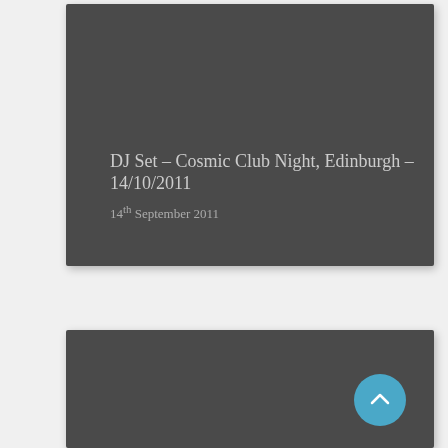[Figure (other): Dark gray card/panel — top portion of a website listing card for a DJ set event, showing title and date text overlay on a dark background image placeholder]
DJ Set – Cosmic Club Night, Edinburgh – 14/10/2011
14th September 2011
[Figure (other): Dark gray card/panel — bottom portion of a second website listing card, partially visible, with a circular cyan/teal scroll-to-top button in the bottom-right corner]